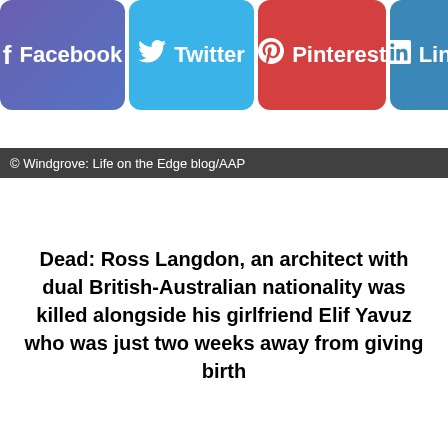[Figure (screenshot): Social media sharing buttons row: Facebook (purple-blue), Twitter (blue), Pinterest (red), LinkedIn (blue, partially visible)]
© Windgrove: Life on the Edge blog/AAP
Dead: Ross Langdon, an architect with dual British-Australian nationality was killed alongside his girlfriend Elif Yavuz who was just two weeks away from giving birth